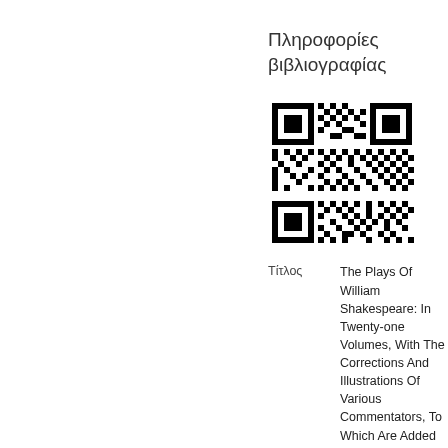Πληροφορίες βιβλιογραφίας
[Figure (other): QR code image for bibliographic information]
Τίτλος	The Plays Of William Shakespeare: In Twenty-one Volumes, With The Corrections And Illustrations Of Various Commentators, To Which Are Added Notes: